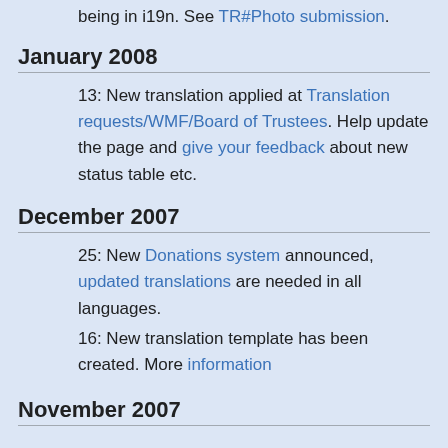being in i19n. See TR#Photo submission.
January 2008
13: New translation applied at Translation requests/WMF/Board of Trustees. Help update the page and give your feedback about new status table etc.
December 2007
25: New Donations system announced, updated translations are needed in all languages.
16: New translation template has been created. More information
November 2007